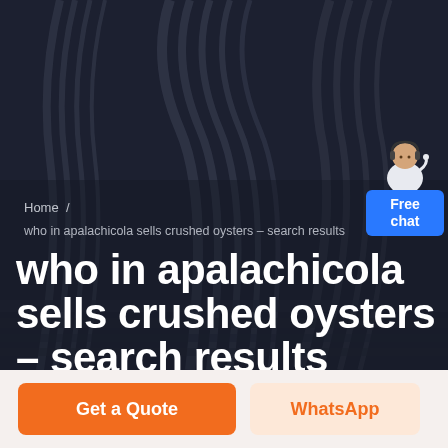[Figure (screenshot): Dark hero banner background with abstract striped architectural pattern in dark navy/charcoal tones]
Home /
who in apalachicola sells crushed oysters – search results
who in apalachicola sells crushed oysters – search results
[Figure (illustration): Customer service agent figure with blue Free chat button widget in top right corner]
Get a Quote
WhatsApp